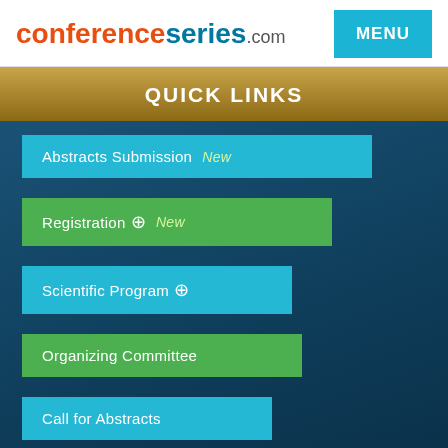conferenceseries.com
QUICK LINKS
Abstracts Submission  New
Registration + New
Scientific Program +
Organizing Committee
Call for Abstracts
Brochure & Contact Details